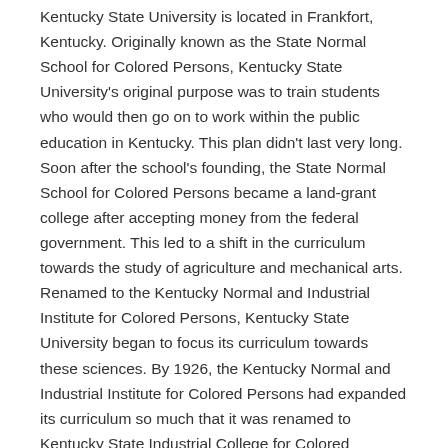Kentucky State University is located in Frankfort, Kentucky. Originally known as the State Normal School for Colored Persons, Kentucky State University's original purpose was to train students who would then go on to work within the public education in Kentucky. This plan didn't last very long. Soon after the school's founding, the State Normal School for Colored Persons became a land-grant college after accepting money from the federal government. This led to a shift in the curriculum towards the study of agriculture and mechanical arts. Renamed to the Kentucky Normal and Industrial Institute for Colored Persons, Kentucky State University began to focus its curriculum towards these sciences. By 1926, the Kentucky Normal and Industrial Institute for Colored Persons had expanded its curriculum so much that it was renamed to Kentucky State Industrial College for Colored Persons.